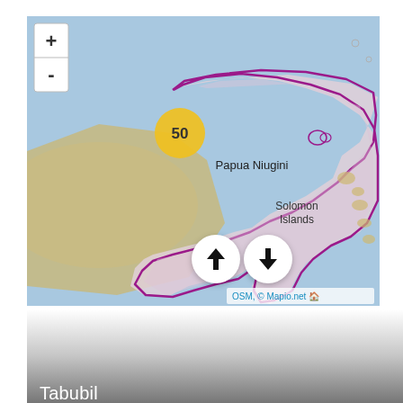[Figure (map): Interactive map showing Papua Niugini (Papua New Guinea) and Solomon Islands region, with a purple/magenta border outline around Papua New Guinea territory. A yellow circle marker labeled '50' is visible. Navigation controls (+ and -) are in the top left. Down and up arrow navigation buttons are at the bottom center. OSM credit to Mapio.net shown at bottom right.]
Tabubil